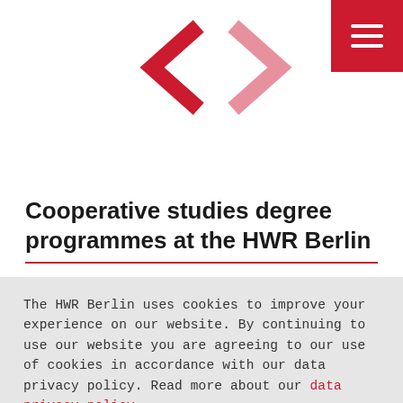[Figure (illustration): Navigation arrows: a dark red/crimson left chevron and a lighter pink/salmon right chevron, centered near the top of the page]
[Figure (illustration): Hamburger menu icon (three white horizontal lines) on a dark red/crimson square background in the top-right corner]
Cooperative studies degree programmes at the HWR Berlin
The HWR Berlin uses cookies to improve your experience on our website. By continuing to use our website you are agreeing to our use of cookies in accordance with our data privacy policy. Read more about our data privacy policy.
Accept